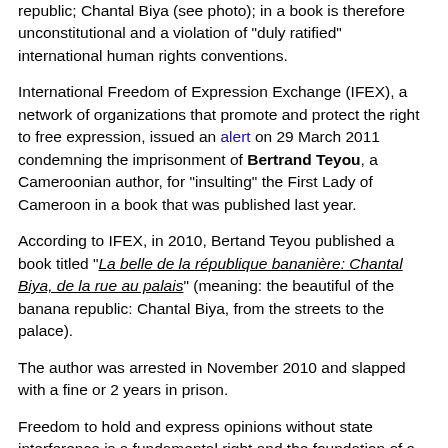republic; Chantal Biya (see photo); in a book is therefore unconstitutional and a violation of "duly ratified" international human rights conventions.
International Freedom of Expression Exchange (IFEX), a network of organizations that promote and protect the right to free expression, issued an alert on 29 March 2011 condemning the imprisonment of Bertrand Teyou, a Cameroonian author, for "insulting" the First Lady of Cameroon in a book that was published last year.
According to IFEX, in 2010, Bertand Teyou published a book titled "La belle de la république bananière: Chantal Biya, de la rue au palais" (meaning: the beautiful of the banana republic: Chantal Biya, from the streets to the palace).
The author was arrested in November 2010 and slapped with a fine or 2 years in prison.
Freedom to hold and express opinions without state interference is a fundamental right and the foundation of a free and democratic society. This right is laid down in all significant human rights instruments including the UDHR...